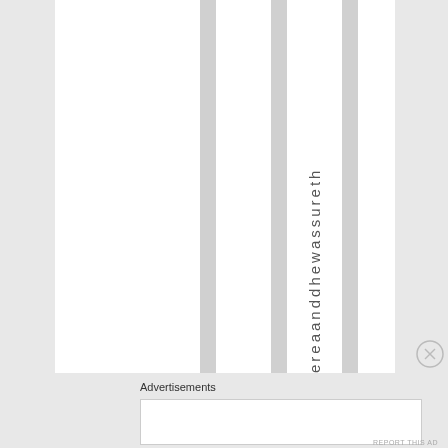e r e a n d h e w a s s u r e t h
Advertisements
[Figure (other): Advertisement placeholder box]